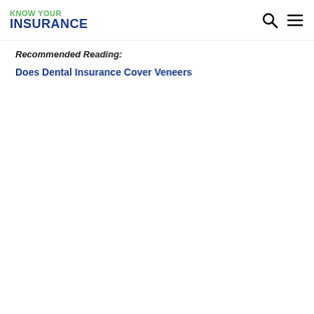KNOW YOUR INSURANCE
Recommended Reading:
Does Dental Insurance Cover Veneers